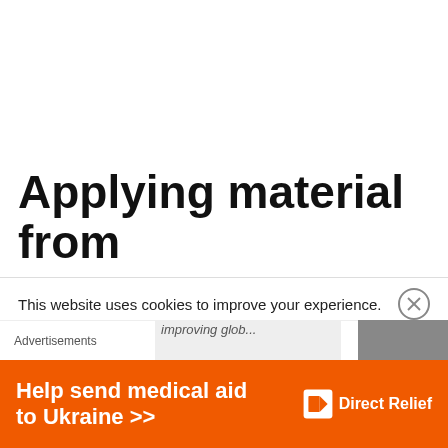Applying material from
This website uses cookies to improve your experience.
Advertisements
[Figure (infographic): Direct Relief advertisement banner: orange background with text 'Help send medical aid to Ukraine >>' and the Direct Relief logo (white box icon with DR mark) on the right side.]